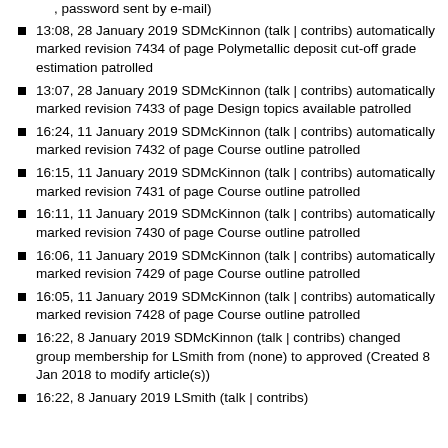, password sent by e-mail)
13:08, 28 January 2019 SDMcKinnon (talk | contribs) automatically marked revision 7434 of page Polymetallic deposit cut-off grade estimation patrolled
13:07, 28 January 2019 SDMcKinnon (talk | contribs) automatically marked revision 7433 of page Design topics available patrolled
16:24, 11 January 2019 SDMcKinnon (talk | contribs) automatically marked revision 7432 of page Course outline patrolled
16:15, 11 January 2019 SDMcKinnon (talk | contribs) automatically marked revision 7431 of page Course outline patrolled
16:11, 11 January 2019 SDMcKinnon (talk | contribs) automatically marked revision 7430 of page Course outline patrolled
16:06, 11 January 2019 SDMcKinnon (talk | contribs) automatically marked revision 7429 of page Course outline patrolled
16:05, 11 January 2019 SDMcKinnon (talk | contribs) automatically marked revision 7428 of page Course outline patrolled
16:22, 8 January 2019 SDMcKinnon (talk | contribs) changed group membership for LSmith from (none) to approved (Created 8 Jan 2018 to modify article(s))
16:22, 8 January 2019 LSmith (talk | contribs)